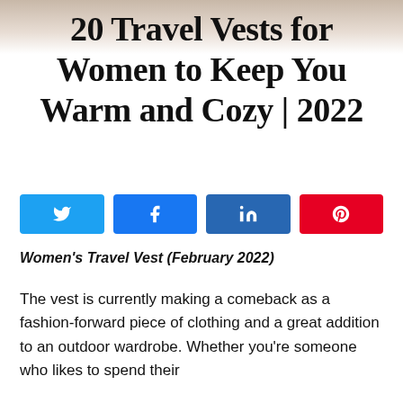[Figure (photo): Partial hero image of a woman wearing a travel vest, cropped at top of page]
20 Travel Vests for Women to Keep You Warm and Cozy | 2022
[Figure (infographic): Social sharing buttons: Twitter (blue), Facebook (blue), LinkedIn (dark blue), Pinterest (red)]
Women's Travel Vest (February 2022)
The vest is currently making a comeback as a fashion-forward piece of clothing and a great addition to an outdoor wardrobe. Whether you're someone who likes to spend their